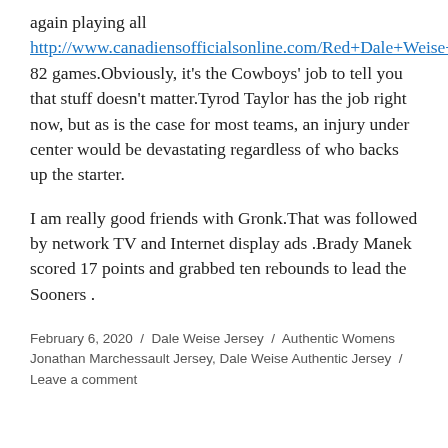again playing all http://www.canadiensofficialsonline.com/Red+Dale+Weise+Jersey 82 games.Obviously, it's the Cowboys' job to tell you that stuff doesn't matter.Tyrod Taylor has the job right now, but as is the case for most teams, an injury under center would be devastating regardless of who backs up the starter.
I am really good friends with Gronk.That was followed by network TV and Internet display ads .Brady Manek scored 17 points and grabbed ten rebounds to lead the Sooners .
February 6, 2020 / Dale Weise Jersey / Authentic Womens Jonathan Marchessault Jersey, Dale Weise Authentic Jersey / Leave a comment